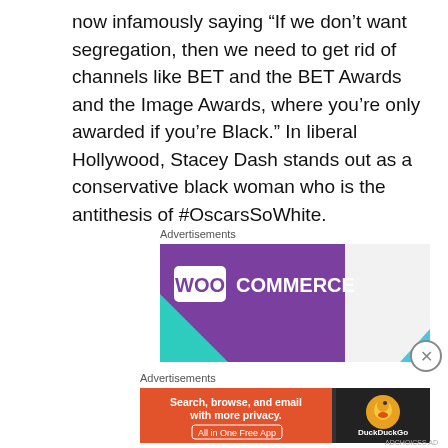now infamously saying “If we don’t want segregation, then we need to get rid of channels like BET and the BET Awards and the Image Awards, where you’re only awarded if you’re Black.” In liberal Hollywood, Stacey Dash stands out as a conservative black woman who is the antithesis of #OscarsSoWhite.
Advertisements
[Figure (logo): WooCommerce advertisement banner with purple background and white WooCommerce logo text]
Advertisements
[Figure (infographic): DuckDuckGo advertisement: Search, browse, and email with more privacy. All in One Free App]